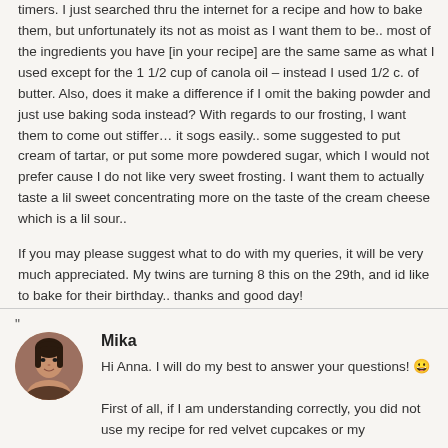timers. I just searched thru the internet for a recipe and how to bake them, but unfortunately its not as moist as I want them to be.. most of the ingredients you have [in your recipe] are the same same as what I used except for the 1 1/2 cup of canola oil – instead I used 1/2 c. of butter. Also, does it make a difference if I omit the baking powder and just use baking soda instead? With regards to our frosting, I want them to come out stiffer… it sogs easily.. some suggested to put cream of tartar, or put some more powdered sugar, which I would not prefer cause I do not like very sweet frosting. I want them to actually taste a lil sweet concentrating more on the taste of the cream cheese which is a lil sour..
If you may please suggest what to do with my queries, it will be very much appreciated. My twins are turning 8 this on the 29th, and id like to bake for their birthday.. thanks and good day!
"
Mika
[Figure (photo): Circular avatar photo of a woman with dark hair against a warm background]
Hi Anna. I will do my best to answer your questions! 😀
First of all, if I am understanding correctly, you did not use my recipe for red velvet cupcakes or my